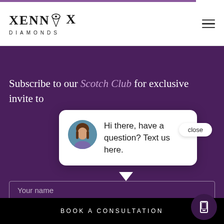[Figure (logo): Xennox Diamonds logo with diamond ring icon above the second N]
Subscribe to our Scotch Club for exclusive invite to
Hi there, have a question? Text us here.
close
Your name
BOOK A CONSULTATION